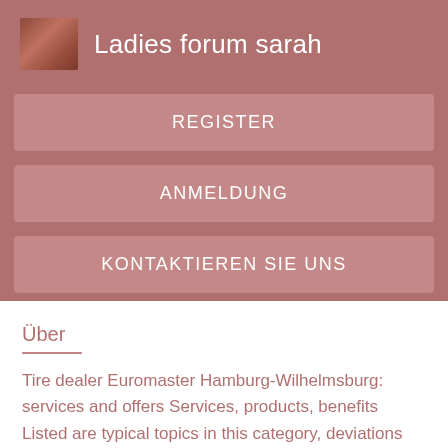Ladies forum sarah
REGISTER
ANMELDUNG
KONTAKTIEREN SIE UNS
Über
Tire dealer Euromaster Hamburg-Wilhelmsburg: services and offers Services, products, benefits Listed are typical topics in this category, deviations possible. Facebook, Twitter. We have carefully researched address, phone, e-mail and website of the offer tire dealer Euromaster